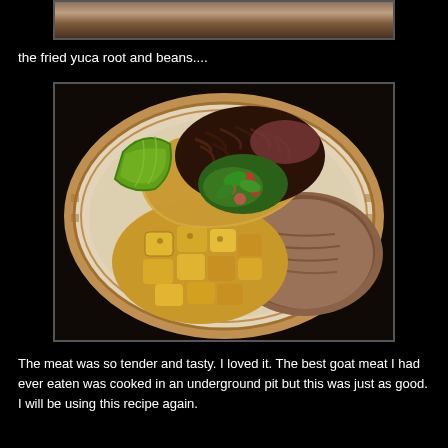[Figure (photo): Partial view of a decorative plate with Aztec/Mayan pattern, cropped at top]
the fried yuca root and beans....
[Figure (photo): A decorative plate with Aztec/Mayan pattern containing fried yuca root cubes, refried beans, a taco with shredded goat meat and salsa, and a lime wedge]
The meat was so tender and tasty. I loved it. The best goat meat I had ever eaten was cooked in an underground pit but this was just as good. I will be using this recipe again.